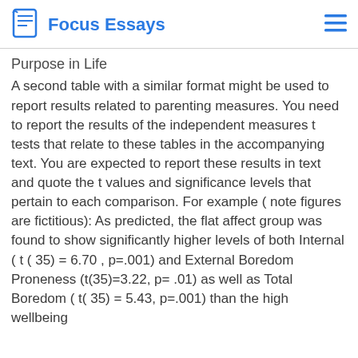Focus Essays
Purpose in Life
A second table with a similar format might be used to report results related to parenting measures. You need to report the results of the independent measures t tests that relate to these tables in the accompanying text. You are expected to report these results in text and quote the t values and significance levels that pertain to each comparison. For example ( note figures are fictitious): As predicted, the flat affect group was found to show significantly higher levels of both Internal ( t ( 35) = 6.70 , p=.001) and External Boredom Proneness (t(35)=3.22, p= .01) as well as Total Boredom ( t( 35) = 5.43, p=.001) than the high wellbeing